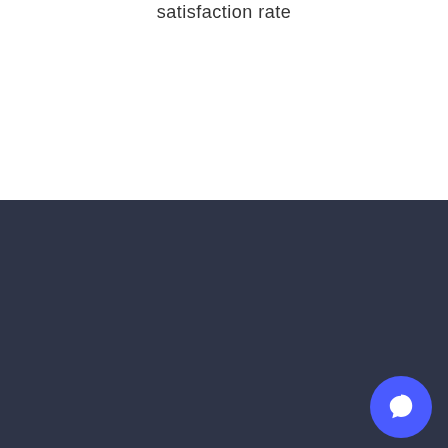satisfaction rate
One platform, one price.
You shouldn’t need to pay for separate platforms for live chat, knowledge base, chatbots, email marketing, automation and more.